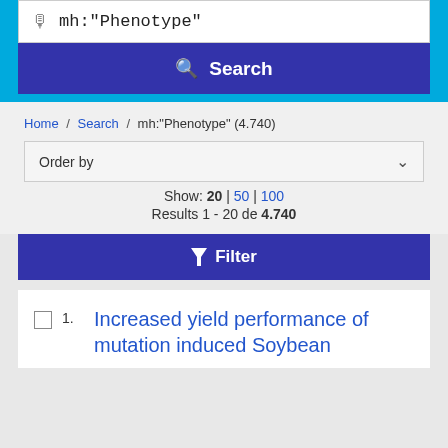mh:"Phenotype"
Search
Home / Search / mh:"Phenotype" (4.740)
Order by
Show: 20 | 50 | 100
Results 1 - 20 de 4.740
Filter
1. Increased yield performance of mutation induced Soybean